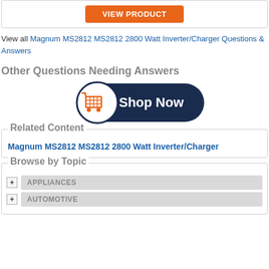[Figure (other): Orange VIEW PRODUCT button]
View all Magnum MS2812 MS2812 2800 Watt Inverter/Charger Questions & Answers
Other Questions Needing Answers
[Figure (other): Shop Now button with orange shopping cart icon on dark navy background]
Related Content
Magnum MS2812 MS2812 2800 Watt Inverter/Charger
Browse by Topic
APPLIANCES
AUTOMOTIVE